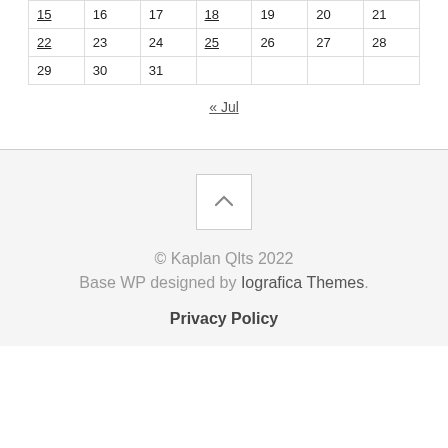| 15 | 16 | 17 | 18 | 19 | 20 | 21 |
| 22 | 23 | 24 | 25 | 26 | 27 | 28 |
| 29 | 30 | 31 |  |  |  |  |
« Jul
[Figure (other): Scroll-to-top button with upward chevron arrow]
© Kaplan Qlts 2022
Base WP designed by Iografica Themes.
Privacy Policy